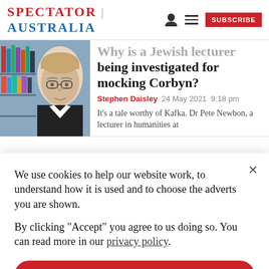SPECTATOR | AUSTRALIA
[Figure (photo): Headshot of a young man with glasses in front of bookshelves]
Why is a Jewish lecturer being investigated for mocking Corbyn?
Stephen Daisley  24 May 2021 9:18 pm
It’s a tale worthy of Kafka. Dr Pete Newbon, a lecturer in humanities at
We use cookies to help our website work, to understand how it is used and to choose the adverts you are shown.
By clicking "Accept" you agree to us doing so. You can read more in our privacy policy.